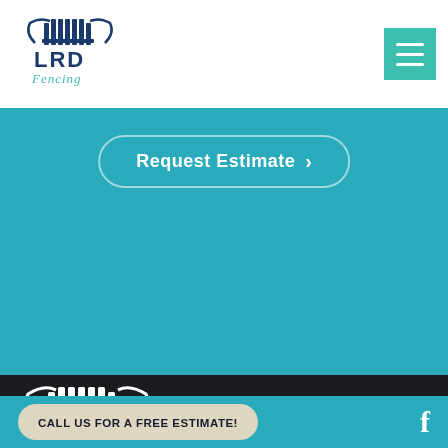[Figure (logo): LRD Fencing logo - small version in header, white/teal fence icon with LRD text and cursive Fencing script]
[Figure (screenshot): Navigation menu hamburger icon - teal square with three white horizontal lines]
Request Estimate >
[Figure (logo): LRD Fencing logo - large white version on dark background, fence icon with LRD bold text and cursive Fencing script]
LRD Fencing prides itself on providing the highest quality of fencing products and services in Pinellas County. Serving the
CALL US FOR A FREE ESTIMATE!